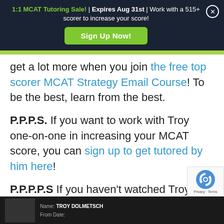1:1 MCAT Tutoring Sale! | Expires Aug 31st | Work with a 515+ scorer to increase your score! Sign Up Now!
get a lot more when you join the free top scorer MCAT Strategy Email Course! To be the best, learn from the best.
P.P.P.S. If you want to work with Troy one-on-one in increasing your MCAT score, you can sign up to get tutored by him here!
P.P.P.P.S If you haven't watched Troy's interview yet, you can do so here:
[Figure (screenshot): Bottom bar showing Troy Dolmetsch name and interview screenshot thumbnail]